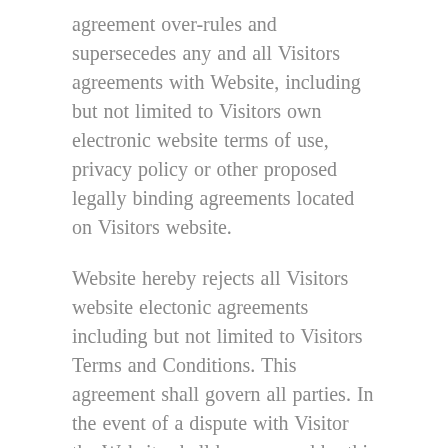agreement over-rules and supersecedes any and all Visitors agreements with Website, including but not limited to Visitors own electronic website terms of use, privacy policy or other proposed legally binding agreements located on Visitors website.
Website hereby rejects all Visitors website electonic agreements including but not limited to Visitors Terms and Conditions. This agreement shall govern all parties. In the event of a dispute with Visitor the Website shall be governed by this agreement and by the applicable default rules and laws which shall be settled in binding arbitration or a court of law at the Websites choice in the jurisdiction of the Websites choice. Any and all agreements, representations, promises, warranties, actions, or statements by Visitors